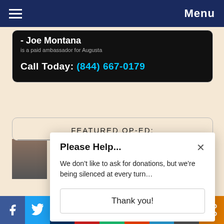Menu
[Figure (screenshot): Ad featuring Joe Montana for Augusta. White text on dark background: '- Joe Montana / is a paid ambassador for Augusta'. Bold call to action: 'Call Today: (844) 667-0179' with phone number in cyan.]
FEATURED OP-ED:
Please Help...
We don't like to ask for donations, but we're being silenced at every turn...
Thank you!